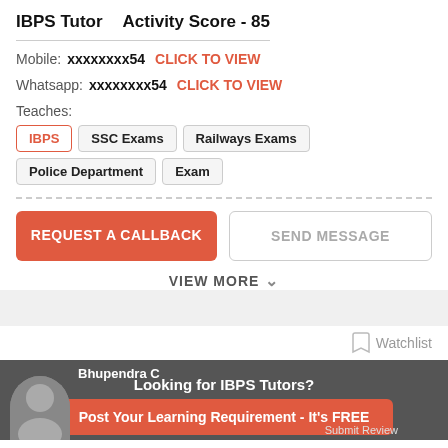IBPS Tutor   Activity Score - 85
Mobile: xxxxxxxx54  CLICK TO VIEW
Whatsapp: xxxxxxxx54  CLICK TO VIEW
Teaches:
IBPS
SSC Exams
Railways Exams
Police Department Exam
REQUEST A CALLBACK
SEND MESSAGE
VIEW MORE
Watchlist
Looking for IBPS Tutors?
Post Your Learning Requirement - It's FREE